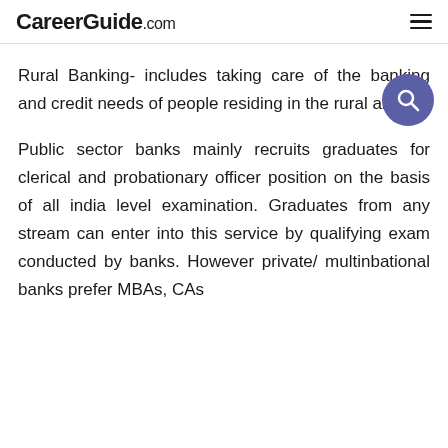CareerGuide.com
Rural Banking- includes taking care of the banking and credit needs of people residing in the rural areas.
Public sector banks mainly recruits graduates for clerical and probationary officer position on the basis of all india level examination. Graduates from any stream can enter into this service by qualifying exam conducted by banks. However private/ multinbational banks prefer MBAs, CAs